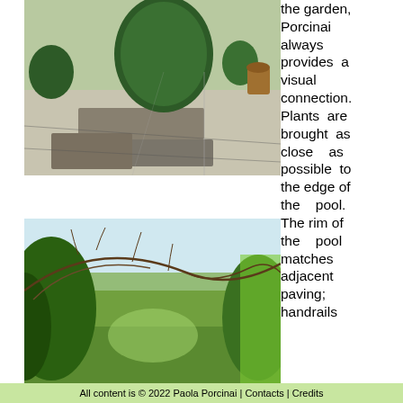[Figure (photo): Garden path with gravel, large topiary cone shrub, and stone paving slabs]
the garden, Porcinai always provides a visual connection. Plants are brought as close as possible to the edge of the pool. The rim of the pool matches adjacent paving; handrails
[Figure (photo): Forest path with overhanging bare branches and green foliage on both sides]
All content is © 2022 Paola Porcinai | Contacts | Credits